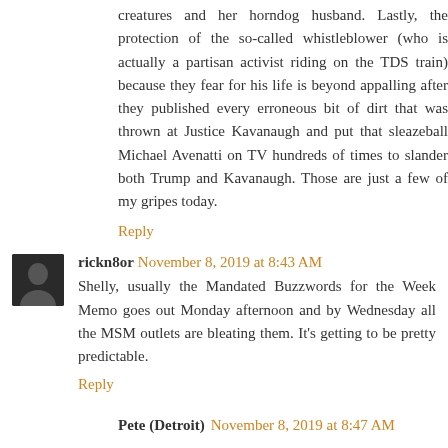creatures and her horndog husband. Lastly, the protection of the so-called whistleblower (who is actually a partisan activist riding on the TDS train) because they fear for his life is beyond appalling after they published every erroneous bit of dirt that was thrown at Justice Kavanaugh and put that sleazeball Michael Avenatti on TV hundreds of times to slander both Trump and Kavanaugh. Those are just a few of my gripes today.
Reply
rickn8or  November 8, 2019 at 8:43 AM
Shelly, usually the Mandated Buzzwords for the Week Memo goes out Monday afternoon and by Wednesday all the MSM outlets are bleating them. It's getting to be pretty predictable.
Reply
Pete (Detroit)  November 8, 2019 at 8:47 AM